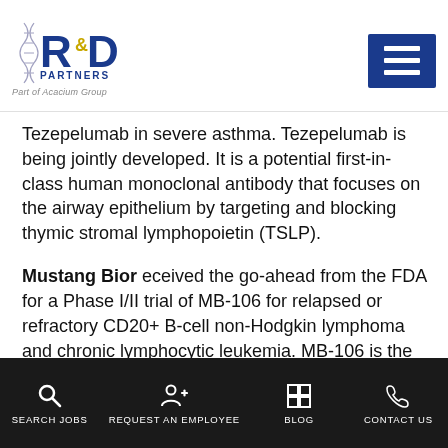R&D Partners — Part of Acacium Group
Tezepelumab in severe asthma. Tezepelumab is being jointly developed. It is a potential first-in-class human monoclonal antibody that focuses on the airway epithelium by targeting and blocking thymic stromal lymphopoietin (TSLP).
Mustang Bior eceived the go-ahead from the FDA for a Phase I/II trial of MB-106 for relapsed or refractory CD20+ B-cell non-Hodgkin lymphoma and chronic lymphocytic leukemia. MB-106 is the company's CD20-targeted CAR-T therapy.
Daiichi Sankyo
SEARCH JOBS | REQUEST AN EMPLOYEE | BLOG | CONTACT US